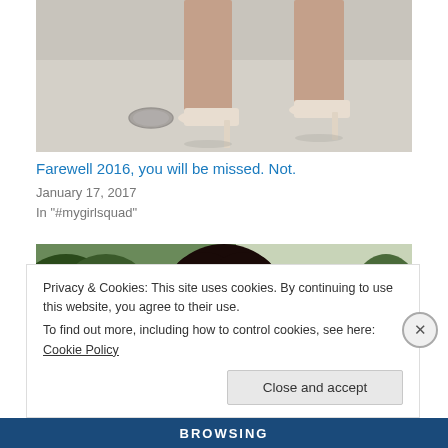[Figure (photo): Cropped photo showing a person's legs wearing high-heel nude/beige pumps, standing on a light concrete or studio floor]
Farewell 2016, you will be missed. Not.
January 17, 2017
In "#mygirlsquad"
[Figure (photo): Photo of a young Black woman with a large natural afro hairstyle, wearing a dark polka-dot top, with a floral accessory in her hair. She is posed with eyes closed and mouth slightly open, with green plants and a peach-colored wall in the background.]
Privacy & Cookies: This site uses cookies. By continuing to use this website, you agree to their use.
To find out more, including how to control cookies, see here: Cookie Policy
Close and accept